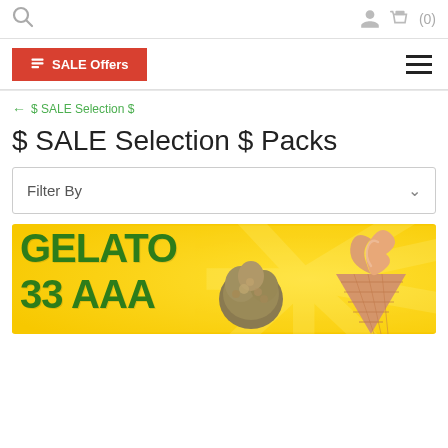Search icon, User icon, Bag (0)
SALE Offers
← $ SALE Selection $
$ SALE Selection $ Packs
Filter By
[Figure (photo): Product banner with yellow background and sunrays, showing GELATO 33 AAA text in green, cannabis flower and ice cream cone]